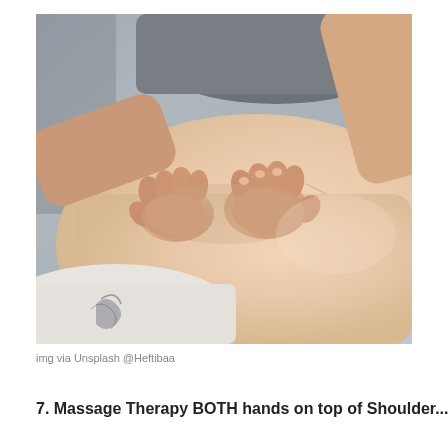[Figure (photo): A massage therapist's hands pressing into the upper back of a person lying face down on a massage table. The therapist wears a gray top and a delicate bracelet. The client has a tattoo visible on their lower left side. The image is taken in a soft, clinical/spa setting.]
img via Unsplash @Heftibaa
7. Massage Therapy BOTH hands on top of Shoulder...